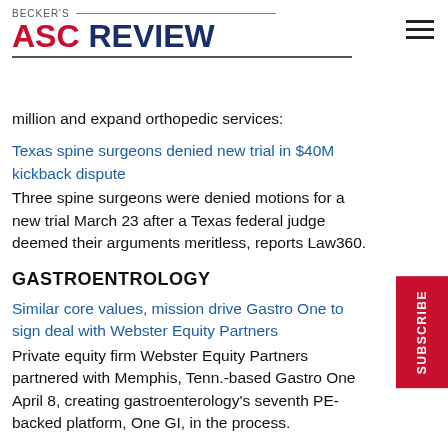BECKER'S ASC REVIEW
million and expand orthopedic services:
Texas spine surgeons denied new trial in $40M kickback dispute
Three spine surgeons were denied motions for a new trial March 23 after a Texas federal judge deemed their arguments meritless, reports Law360.
GASTROENTROLOGY
Similar core values, mission drive Gastro One to sign deal with Webster Equity Partners
Private equity firm Webster Equity Partners partnered with Memphis, Tenn.-based Gastro One April 8, creating gastroenterology's seventh PE-backed platform, One GI, in the process.